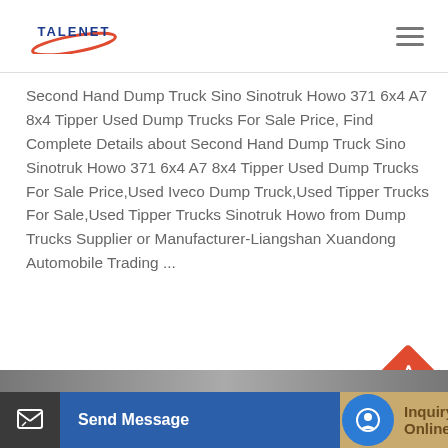[Figure (logo): TALENET logo with red swoosh and blue text]
Second Hand Dump Truck Sino Sinotruk Howo 371 6x4 A7 8x4 Tipper Used Dump Trucks For Sale Price, Find Complete Details about Second Hand Dump Truck Sino Sinotruk Howo 371 6x4 A7 8x4 Tipper Used Dump Trucks For Sale Price,Used Iveco Dump Truck,Used Tipper Trucks For Sale,Used Tipper Trucks Sinotruk Howo from Dump Trucks Supplier or Manufacturer-Liangshan Xuandong Automobile Trading ...
Learn More
Send Message
Inquiry Online